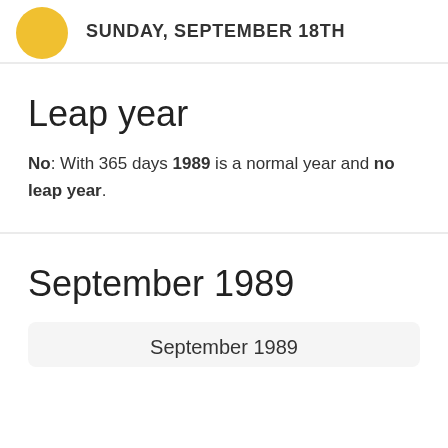[Figure (illustration): Yellow sun circle icon with date text 'SUNDAY, SEPTEMBER 18TH' next to it]
Leap year
No: With 365 days 1989 is a normal year and no leap year.
September 1989
September 1989